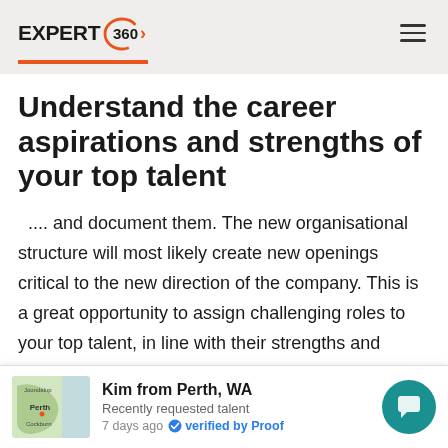EXPERT 360
Understand the career aspirations and strengths of your top talent
.... and document them. The new organisational structure will most likely create new openings critical to the new direction of the company. This is a great opportunity to assign challenging roles to your top talent, in line with their strengths and career goals. However, considerable planning is required to assign
Kim from Perth, WA
Recently requested talent
7 days ago  verified by Proof